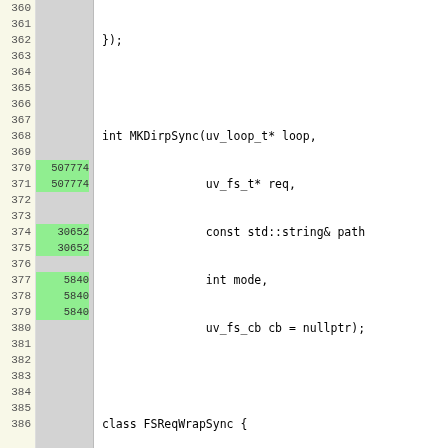[Figure (screenshot): Code coverage view showing C++ source code lines 360-386 with line numbers on left, coverage counts in middle column (highlighted green for covered lines), and code on right. Shows MKDirpSync function signature and FSReqWrapSync class definition.]